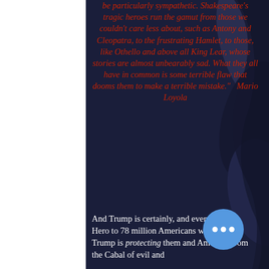be particularly sympathetic. Shakespeare's tragic heroes run the gamut from those we couldn't care less about, such as Antony and Cleopatra, to the frustrating Hamlet, to those, like Othello and above all King Lear, whose stories are almost unbearably sad. What they all have in common is some terrible flaw that dooms them to make a terrible mistake."   Mario Loyola
And Trump is certainly, and every bit, that Hero to 78 million Americans who believe Trump is protecting them and America, from the Cabal of evil and